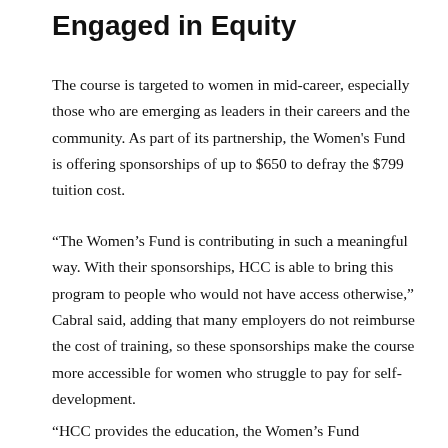Engaged in Equity
The course is targeted to women in mid-career, especially those who are emerging as leaders in their careers and the community. As part of its partnership, the Women's Fund is offering sponsorships of up to $650 to defray the $799 tuition cost.
“The Women’s Fund is contributing in such a meaningful way. With their sponsorships, HCC is able to bring this program to people who would not have access otherwise,” Cabral said, adding that many employers do not reimburse the cost of training, so these sponsorships make the course more accessible for women who struggle to pay for self-development.
“HCC provides the education, the Women’s Fund